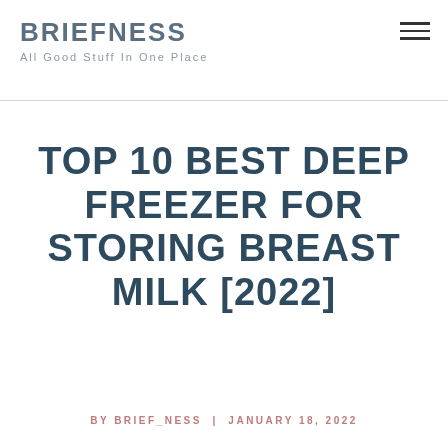BRIEFNESS
All Good Stuff In One Place
TOP 10 BEST DEEP FREEZER FOR STORING BREAST MILK [2022]
BY BRIEF_NESS | JANUARY 18, 2022